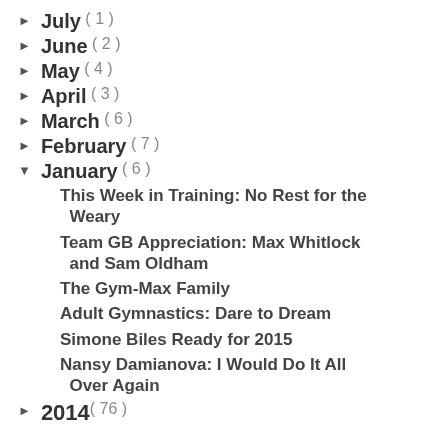▶ July ( 1 )
▶ June ( 2 )
▶ May ( 4 )
▶ April ( 3 )
▶ March ( 6 )
▶ February ( 7 )
▼ January ( 6 )
This Week in Training: No Rest for the Weary
Team GB Appreciation: Max Whitlock and Sam Oldham
The Gym-Max Family
Adult Gymnastics: Dare to Dream
Simone Biles Ready for 2015
Nansy Damianova: I Would Do It All Over Again
▶ 2014 ( 76 )